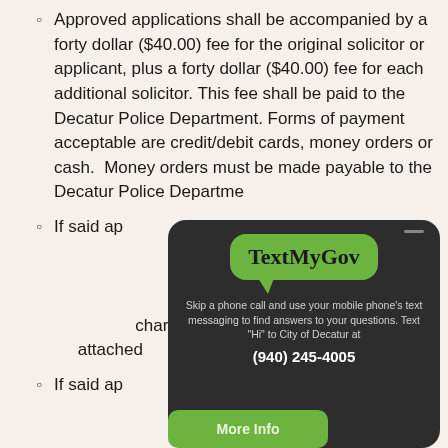Approved applications shall be accompanied by a forty dollar ($40.00) fee for the original solicitor or applicant, plus a forty dollar ($40.00) fee for each additional solicitor. This fee shall be paid to the Decatur Police Department. Forms of payment acceptable are credit/debit cards, money orders or cash. Money orders must be made payable to the Decatur Police Department.
If said application is made by or on behalf of an organization existing under the laws of any other state or country, or a corporation organized under the laws of any other state or country, a certified copy of its charter or articles of incorporation shall be attached.
If said application is made by or on behalf of an organization existing under the laws, shall provide evidence of the organization's lawful authority and that...
[Figure (infographic): TextMyGov promotional overlay on a dark rounded rectangle. Contains a green speech bubble with 'TextMyGov' text, followed by body text: 'Skip a phone call and use your mobile phone's text messaging to find answers to your questions. Text "Hi" to City of Decatur at (940) 245-4005', and a green 'More Info' button below.]